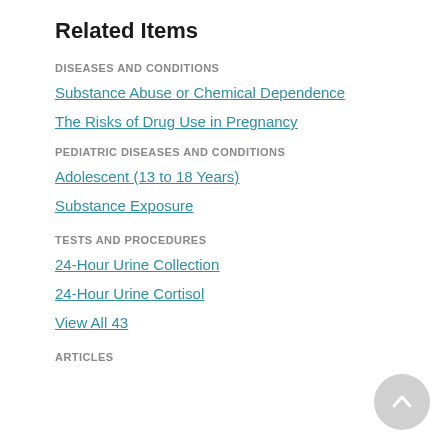Related Items
DISEASES AND CONDITIONS
Substance Abuse or Chemical Dependence
The Risks of Drug Use in Pregnancy
PEDIATRIC DISEASES AND CONDITIONS
Adolescent (13 to 18 Years)
Substance Exposure
TESTS AND PROCEDURES
24-Hour Urine Collection
24-Hour Urine Cortisol
View All 43
ARTICLES